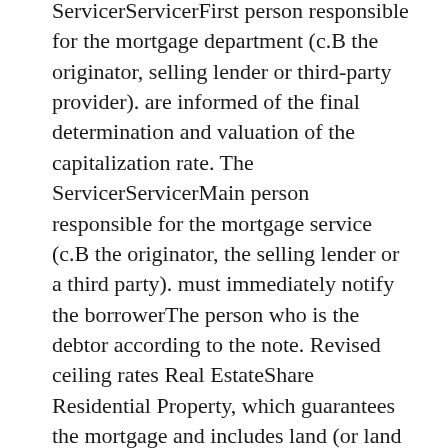ServicerServicerFirst person responsible for the mortgage department (c.B the originator, selling lender or third-party provider). are informed of the final determination and valuation of the capitalization rate. The ServicerServicerMain person responsible for the mortgage service (c.B the originator, the selling lender or a third party). must immediately notify the borrowerThe person who is the debtor according to the note. Revised ceiling rates Real EstateShare Residential Property, which guarantees the mortgage and includes land (or land rental), improvements and personal property (as defined in the Unified Commercial Code). Values, attributable amounts of facilities